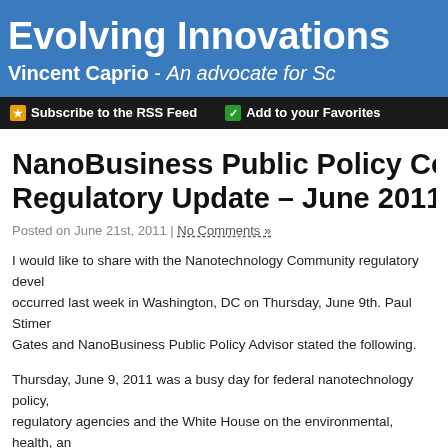Evolving Innovations
Vincent Caprio - An advocate for S[cience]
Subscribe to the RSS Feed   Add to your Favorites
NanoBusiness Public Policy Couns[el] Regulatory Update – June 2011
Posted on June 21st, 2011 | No Comments »
I would like to share with the Nanotechnology Community regulatory devel[opments that] occurred last week in Washington, DC on Thursday, June 9th. Paul Stimer[, of Steptoe &] Gates and NanoBusiness Public Policy Advisor stated the following.
Thursday, June 9, 2011 was a busy day for federal nanotechnology policy, [with several] regulatory agencies and the White House on the environmental, health, an[d safety of] nanotechnology. The NanoBusiness Commercialization Association contin[ues to support] research on this front, so that any regulatory activity addresses real needs